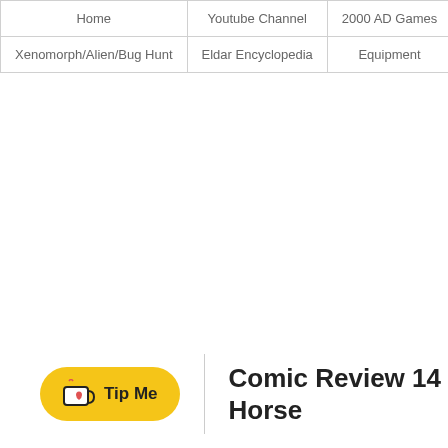Home | Youtube Channel | 2000 AD Games | Book Reviews | Xenomorph/Alien/Bug Hunt | Eldar Encyclopedia | Equipment | Di
[Figure (other): Tip Me button with coffee cup icon, yellow rounded rectangle]
Comic Review 14 Horse